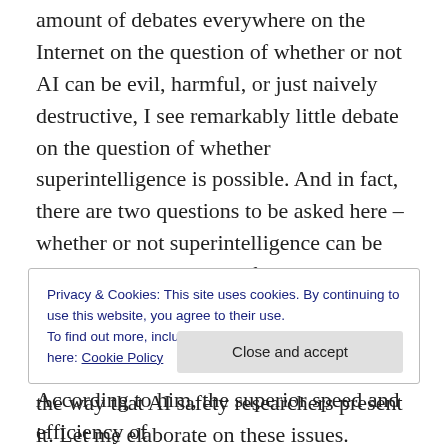amount of debates everywhere on the Internet on the question of whether or not AI can be evil, harmful, or just naively destructive, I see remarkably little debate on the question of whether superintelligence is possible. And in fact, there are two questions to be asked here – whether or not superintelligence can be reached by an AGI significantly more quickly than by a human, and even more basically than that, can we really be sure that “superintelligence” actually exists, in the way that AI safety researchers present it. Let me elaborate on these issues.
Privacy & Cookies: This site uses cookies. By continuing to use this website, you agree to their use.
To find out more, including how to control cookies, see here: Cookie Policy
According to him, the superior speed and efficiency of